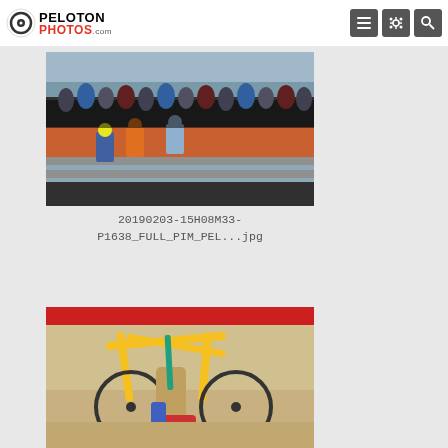PELOTON PHOTOS .com
[Figure (photo): Cyclocross race scene with riders on a muddy orange course, crowds of spectators behind metal barriers, bare winter trees and buildings visible in background.]
20190203-15H08M33-P1638_FULL_PIM_PEL...jpg
[Figure (photo): Close-up of a cyclist carrying a yellow cyclocross bicycle, wearing colorful cycling shoes and socks, red barrier visible at top, sandy/sandy terrain.]